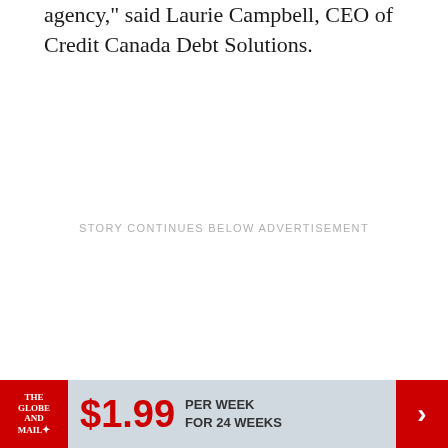agency," said Laurie Campbell, CEO of Credit Canada Debt Solutions.
STORY CONTINUES BELOW ADVERTISEMENT
[Figure (infographic): Advertisement banner for The Globe and Mail subscription offer: $1.99 per week for 24 weeks, with red Globe and Mail logo on left and red arrow button on right.]